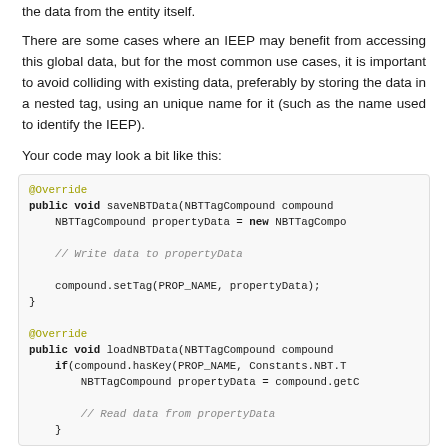the data from the entity itself.
There are some cases where an IEEP may benefit from accessing this global data, but for the most common use cases, it is important to avoid colliding with existing data, preferably by storing the data in a nested tag, using an unique name for it (such as the name used to identify the IEEP).
Your code may look a bit like this:
[Figure (screenshot): Code block showing Java @Override methods saveNBTData and loadNBTData with NBTTagCompound usage and comments]
}